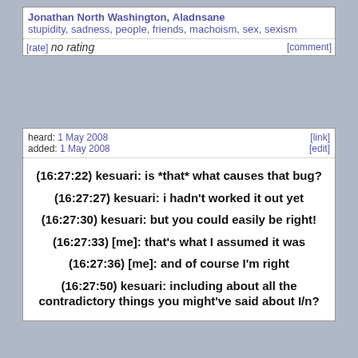Jonathan North Washington, Aladnsane
stupidity, sadness, people, friends, machoism, sex, sexism
[rate] no rating [comment]
heard: 1 May 2008 [link]
added: 1 May 2008 [edit]
(16:27:22) kesuari: is *that* what causes that bug?
(16:27:27) kesuari: i hadn't worked it out yet
(16:27:30) kesuari: but you could easily be right!
(16:27:33) [me]: that's what I assumed it was
(16:27:36) [me]: and of course I'm right
(16:27:50) kesuari: including about all the contradictory things you might've said about I/n?